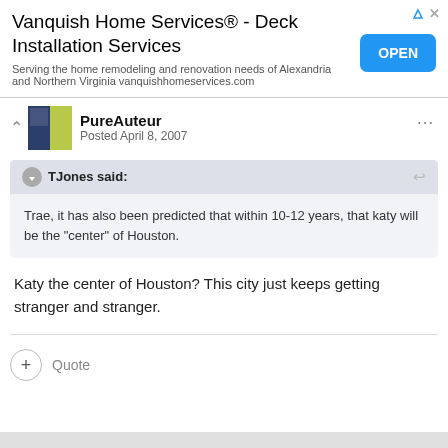[Figure (screenshot): Advertisement banner for Vanquish Home Services Deck Installation Services with an OPEN button]
PureAuteur
Posted April 8, 2007
TJones said:
Trae, it has also been predicted that within 10-12 years, that katy will be the "center" of Houston.
Katy the center of Houston? This city just keeps getting stranger and stranger.
Quote